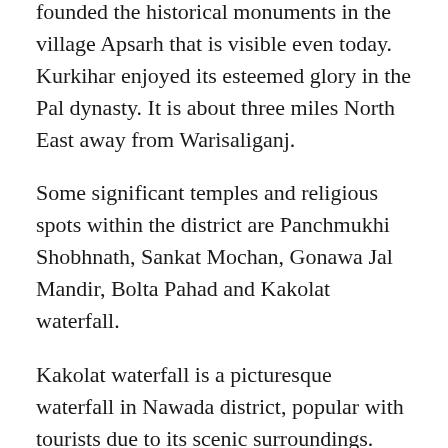founded the historical monuments in the village Apsarh that is visible even today. Kurkihar enjoyed its esteemed glory in the Pal dynasty. It is about three miles North East away from Warisaliganj.
Some significant temples and religious spots within the district are Panchmukhi Shobhnath, Sankat Mochan, Gonawa Jal Mandir, Bolta Pahad and Kakolat waterfall.
Kakolat waterfall is a picturesque waterfall in Nawada district, popular with tourists due to its scenic surroundings. The falls also play a role in Hindu mythology, when according to legend an ancient king was turned into a python by a rishi's curse who lived within the falls.
Folklore suggests that Krishna used to go there with his queens for taking bath. This is one of the best waterfalls in India. The water of this fall is cold